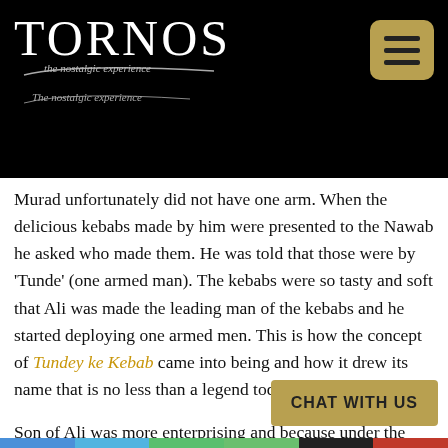TORNOS — The nostalgic experience
Murad unfortunately did not have one arm. When the delicious kebabs made by him were presented to the Nawab he asked who made them. He was told that those were by 'Tunde' (one armed man). The kebabs were so tasty and soft that Ali was made the leading man of the kebabs and he started deploying one armed men. This is how the concept of Tundey ke Kebab came into being and how it drew its name that is no less than a legend today.
Son of Ali was more enterprising and because under the patronage of Wajid Ali Shah he set up a shop in old Lucknow the shop came to be known as Tunde Kebabi. The brand became so popular that recently Supreme Court of India in a litigation had to put an end to its unauth[orized use by] unrelated shop owners in India and abroad. These kebabs are